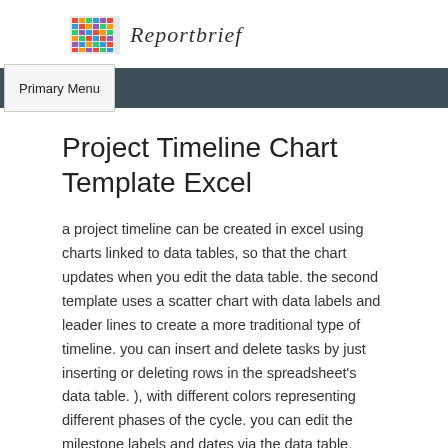Reportbrief
Primary Menu
Project Timeline Chart Template Excel
a project timeline can be created in excel using charts linked to data tables, so that the chart updates when you edit the data table. the second template uses a scatter chart with data labels and leader lines to create a more traditional type of timeline. you can insert and delete tasks by just inserting or deleting rows in the spreadsheet's data table. ), with different colors representing different phases of the cycle. you can edit the milestone labels and dates via the data table. adding more is possible but would require you to create the new